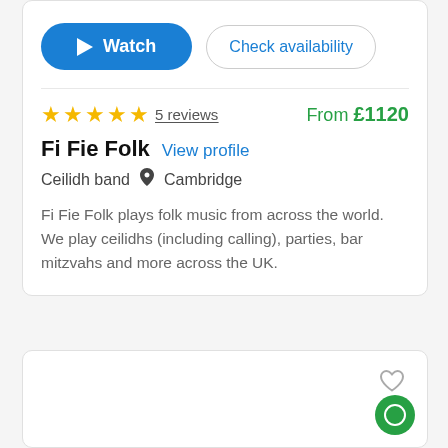[Figure (screenshot): Watch button (blue pill-shaped) and Check availability button (outlined pill-shaped)]
★★★★★ 5 reviews   From £1120
Fi Fie Folk
View profile
Ceilidh band  📍 Cambridge
Fi Fie Folk plays folk music from across the world. We play ceilidhs (including calling), parties, bar mitzvahs and more across the UK.
[Figure (illustration): Bottom of second card showing heart icon and green chat bubble button]